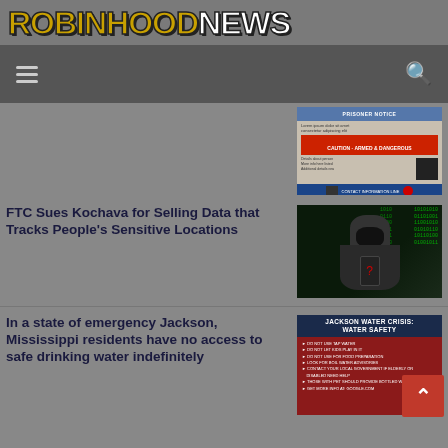[Figure (logo): Robin Hood News logo in bold gold/white block letters on gray background]
Navigation bar with hamburger menu and search icon
[Figure (screenshot): CAUTION armed and dangerous notice document with QR code]
FTC Sues Kochava for Selling Data that Tracks People's Sensitive Locations
[Figure (photo): Hooded figure with digital code background and red question mark on phone, cybersecurity theme]
In a state of emergency Jackson, Mississippi residents have no access to safe drinking water indefinitely
[Figure (infographic): Jackson Water Crisis: Water Safety infographic with red background listing water safety warnings]